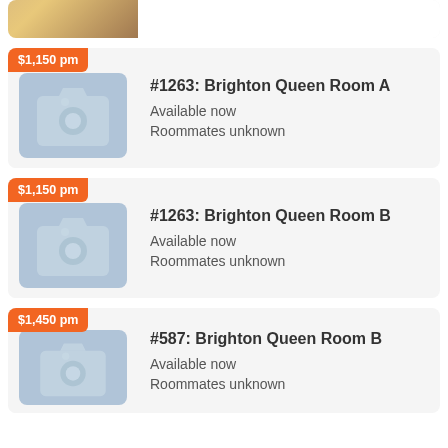[Figure (screenshot): Partial listing card at top of page showing a cropped room image with decorative items]
[Figure (infographic): Listing card for #1263: Brighton Queen Room A, $1,150 pm, Available now, Roommates unknown, with camera placeholder image]
[Figure (infographic): Listing card for #1263: Brighton Queen Room B, $1,150 pm, Available now, Roommates unknown, with camera placeholder image]
[Figure (infographic): Listing card for #587: Brighton Queen Room B, $1,450 pm, Available now, Roommates unknown, with camera placeholder image]